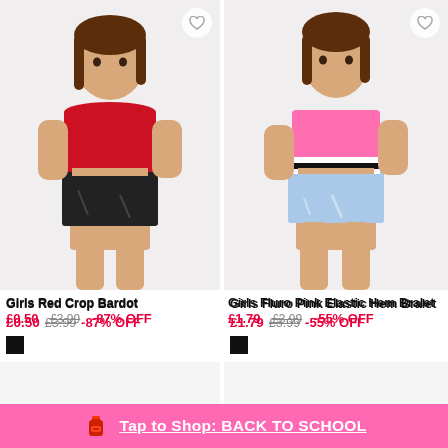[Figure (photo): Young girl wearing a red off-shoulder crop top and black distressed denim shorts, posed against a light background]
[Figure (photo): Young girl wearing a fluoro pink elastic hem bralet and light blue distressed denim shorts, posed against a light background]
Girls Red Crop Bardot
£0.50  £3.99  -87% OFF
Girls Fluro Pink Elastic Hem Bralet
£1.79  £3.99  -55% OFF
Tap to Shop: BACK TO SCHOOL